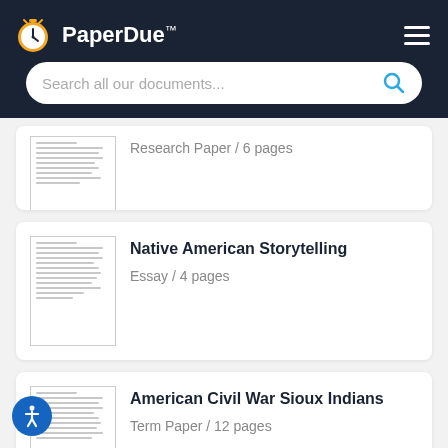PaperDue™
Search all our documents...
Research Paper / 6 pages
Native American Storytelling
Essay / 4 pages
American Civil War Sioux Indians
Term Paper / 12 pages